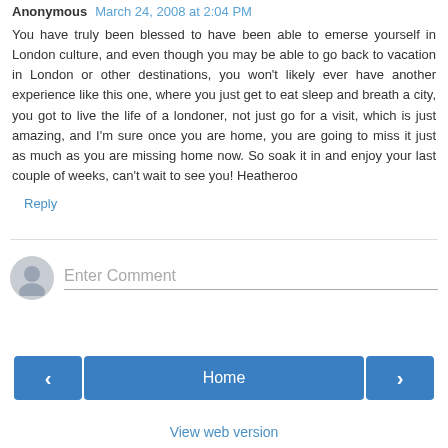Anonymous March 24, 2008 at 2:04 PM
You have truly been blessed to have been able to emerse yourself in London culture, and even though you may be able to go back to vacation in London or other destinations, you won't likely ever have another experience like this one, where you just get to eat sleep and breath a city, you got to live the life of a londoner, not just go for a visit, which is just amazing, and I'm sure once you are home, you are going to miss it just as much as you are missing home now. So soak it in and enjoy your last couple of weeks, can't wait to see you! Heatheroo
Reply
Enter Comment
Home
View web version